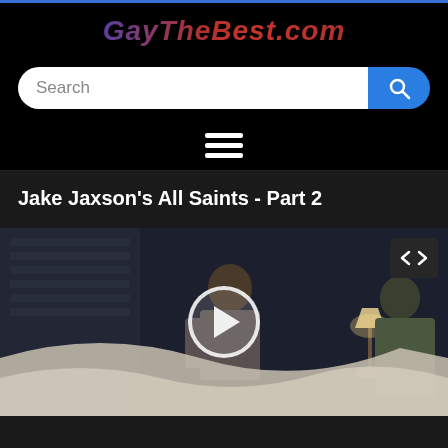GayTheBest.com
Search
[Figure (screenshot): Hamburger menu icon (three horizontal lines)]
Jake Jaxson’s All Saints - Part 2
[Figure (screenshot): Video thumbnail showing a scene with a person in a dim room, with a play button overlay and an embed code icon in the top right corner]